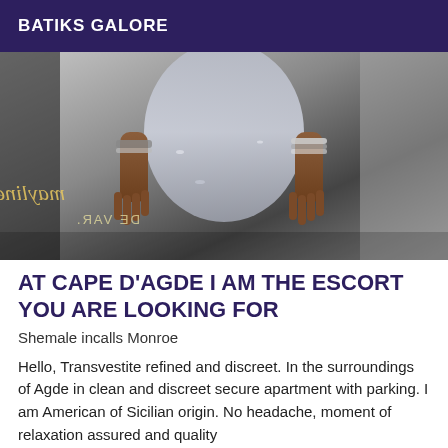BATIKS GALORE
[Figure (photo): Close-up photo of a person in a silver/grey sparkly gown holding the skirt fabric, with hennaed hands and bracelets. Reflected/mirrored text visible in lower left.]
AT CAPE D'AGDE I AM THE ESCORT YOU ARE LOOKING FOR
Shemale incalls Monroe
Hello, Transvestite refined and discreet. In the surroundings of Agde in clean and discreet secure apartment with parking. I am American of Sicilian origin. No headache, moment of relaxation assured and quality